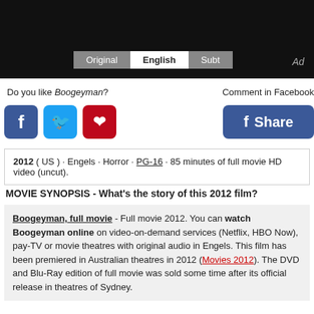[Figure (screenshot): Video player with black background and tab buttons: Original, English (active), Subt. Ad label in top right.]
Do you like Boogeyman?
Comment in Facebook
[Figure (other): Social share icons: Facebook (blue), Twitter (cyan), Pinterest (red)]
[Figure (other): Facebook Share button (blue)]
2012 ( US ) · Engels · Horror · PG-16 · 85 minutes of full movie HD video (uncut).
MOVIE SYNOPSIS - What's the story of this 2012 film?
Boogeyman, full movie - Full movie 2012. You can watch Boogeyman online on video-on-demand services (Netflix, HBO Now), pay-TV or movie theatres with original audio in Engels. This film has been premiered in Australian theatres in 2012 (Movies 2012). The DVD and Blu-Ray edition of full movie was sold some time after its official release in theatres of Sydney.
CAST  Boogeyman (2012)
Eddie McClintock
Filmography
Amy Bailey
Filmography
Maya Angelova
Filmography
Danny Horn
Filmography